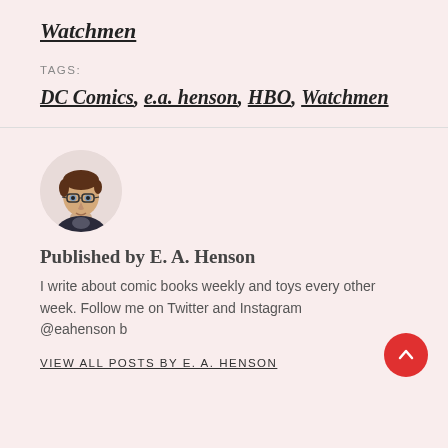Watchmen
TAGS:
DC Comics, e.a. henson, HBO, Watchmen
[Figure (illustration): Circular avatar illustration of a young man with brown hair and glasses, wearing a dark jacket, drawn in a cartoon/comic style.]
Published by E. A. Henson
I write about comic books weekly and toys every other week. Follow me on Twitter and Instagram @eahenson b
VIEW ALL POSTS BY E. A. HENSON